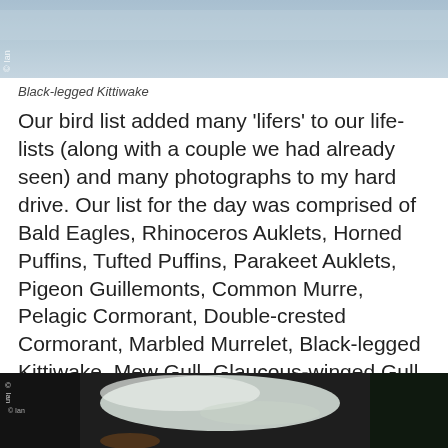[Figure (photo): Top portion of a photo showing a bird (Black-legged Kittiwake) against a blue-grey sky/water background. A watermark is visible on the left side.]
Black-legged Kittiwake
Our bird list added many 'lifers' to our life-lists (along with a couple we had already seen) and many photographs to my hard drive. Our list for the day was comprised of Bald Eagles, Rhinoceros Auklets, Horned Puffins, Tufted Puffins, Parakeet Auklets, Pigeon Guillemonts, Common Murre, Pelagic Cormorant, Double-crested Cormorant, Marbled Murrelet, Black-legged Kittiwake, Mew Gull, Glaucous-winged Gull, and a possible Ancient Murrelet.
[Figure (photo): Bottom photo showing a bird swimming in dark water with white water reflections visible. A watermark is on the left side.]